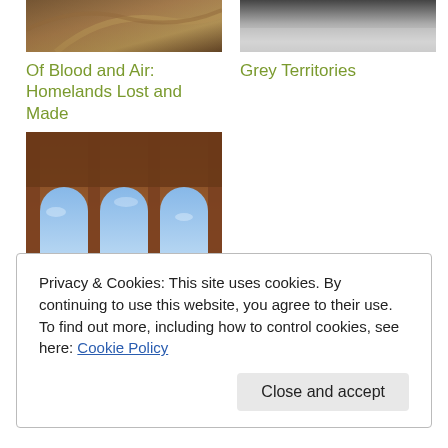[Figure (photo): Partial view of a spiral or architectural interior, warm tones]
Of Blood and Air: Homelands Lost and Made
[Figure (photo): Greyscale abstract or landscape image]
Grey Territories
[Figure (photo): Arched windows viewed from below, stone architecture with blue sky visible]
The Wall
Privacy & Cookies: This site uses cookies. By continuing to use this website, you agree to their use.
To find out more, including how to control cookies, see here: Cookie Policy